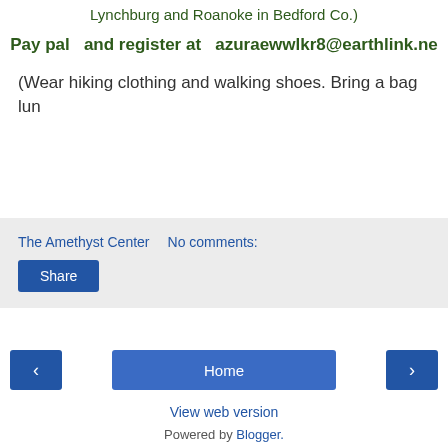Lynchburg and Roanoke in Bedford Co.)
Pay pal  and register at  azuraewwlkr8@earthlink.ne
(Wear hiking clothing and walking shoes. Bring a bag lun
The Amethyst Center    No comments:
Share
‹
Home
›
View web version
Powered by Blogger.